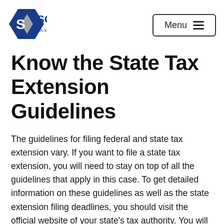SCL TAX SERVICES — Menu
Know the State Tax Extension Guidelines
The guidelines for filing federal and state tax extension vary. If you want to file a state tax extension, you will need to stay on top of all the guidelines that apply in this case. To get detailed information on these guidelines as well as the state extension filing deadlines, you should visit the official website of your state's tax authority. You will find the mailing address there as well.
For any kind of advice in this regard, feel free to reach out